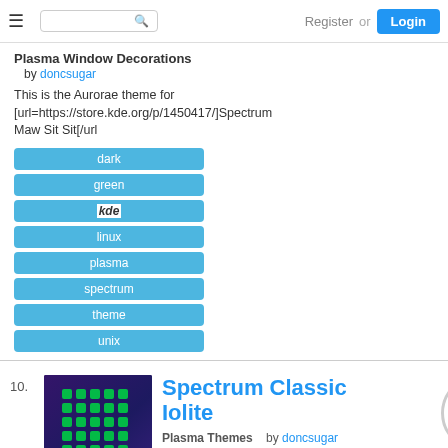Register or Login
Plasma Window Decorations
by doncsugar
This is the Aurorae theme for [url=https://store.kde.org/p/1450417/]Spectrum Maw Sit Sit[/url
dark
green
kde
linux
plasma
spectrum
theme
unix
10.
[Figure (illustration): Thumbnail image showing a dark purple/blue grid pattern with green dots arranged in a matrix]
Spectrum Classic Iolite
5.0
Apr 21 2021
Plasma Themes    by doncsugar
This is the [url=https://www.pling.com/p/1449501/]Spectrum